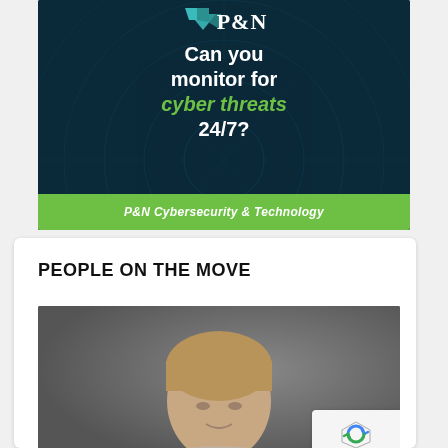[Figure (illustration): P&N Cybersecurity & Technology advertisement banner with dark blue background, radar graphic, P&N logo, text 'Can you monitor for cyber threats 24/7?' with green italic 'cyber threats', and green footer bar with 'P&N Cybersecurity & Technology']
PEOPLE ON THE MOVE
[Figure (photo): Headshot photo of a man with blond/light brown hair against a dark gray background, cropped at the shoulders]